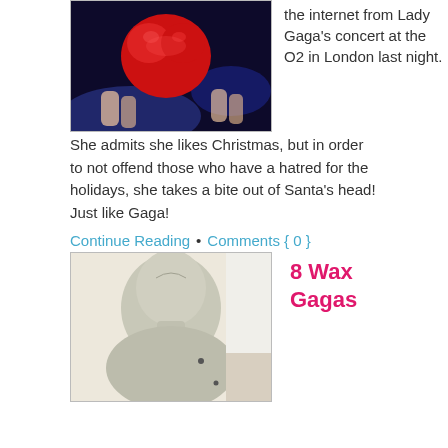[Figure (photo): Photo of hands holding a red Santa candy/cookie at a Lady Gaga concert, dark/blue background]
the internet from Lady Gaga's concert at the O2 in London last night. She admits she likes Christmas, but in order to not offend those who have a hatred for the holidays, she takes a bite out of Santa's head! Just like Gaga!
Continue Reading  •  Comments { 0 }
[Figure (photo): Photo of a wax figure resembling Lady Gaga, light gray/white color, viewed from behind/side]
8 Wax Gagas